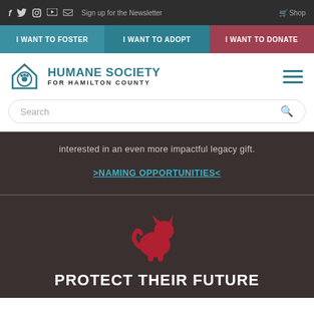f  [twitter] [instagram] [youtube] [email]  Sign up for the Newsletter  [cart] Shop
I WANT TO FOSTER
I WANT TO ADOPT
I WANT TO DONATE
HUMANE SOCIETY FOR HAMILTON COUNTY
Search
interested in an even more impactful legacy gift.
>NAMING OPPORTUNITIES<
[Figure (illustration): Red silhouette icon of a cat walking]
PROTECT THEIR FUTURE